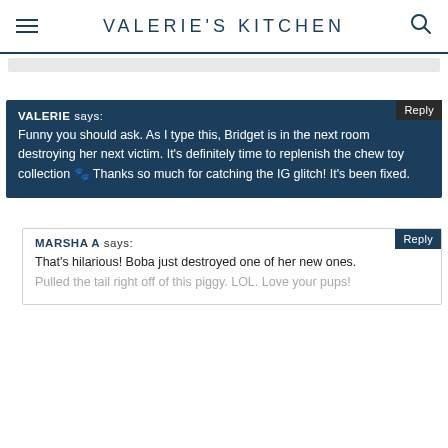VALERIE'S KITCHEN
VALERIE says: Funny you should ask. As I type this, Bridget is in the next room destroying her next victim. It's definitely time to replenish the chew toy collection 🐾 Thanks so much for catching the IG glitch! It's been fixed.
MARSHA A says: That's hilarious! Boba just destroyed one of her new ones. Pulled the tail right off of this piggy. LOL. Love your pups!